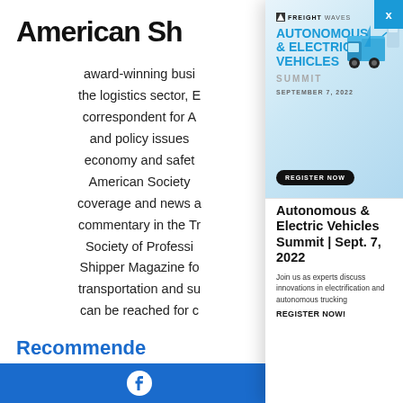American Sh
award-winning busi the logistics sector, E correspondent for A and policy issues economy and safetyAmerican Society coverage and news commentary in the Tr Society of Professi Shipper Magazine fo transportation and su can be reached for
Recommende
[Figure (illustration): FreightWaves Autonomous & Electric Vehicles Summit advertisement banner with truck illustration]
FREIGHTWAVES
AUTONOMOUS & ELECTRIC VEHICLES SUMMIT
SEPTEMBER 7, 2022
REGISTER NOW
Autonomous & Electric Vehicles Summit | Sept. 7, 2022
Join us as experts discuss innovations in electrification and autonomous trucking
REGISTER NOW!